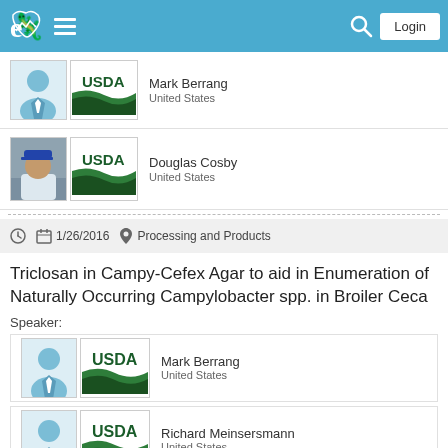[Figure (screenshot): Website navigation bar with logo, hamburger menu, search icon, and Login button on blue background]
[Figure (photo): Speaker card for Mark Berrang (partially visible at top) with USDA logo and United States affiliation]
[Figure (photo): Speaker card for Douglas Cosby with photo, USDA logo, United States affiliation]
1/26/2016
Processing and Products
Triclosan in Campy-Cefex Agar to aid in Enumeration of Naturally Occurring Campylobacter spp. in Broiler Ceca
Speaker:
[Figure (screenshot): Speaker card for Mark Berrang with placeholder avatar and USDA logo, United States]
[Figure (screenshot): Speaker card for Richard Meinsersmann with placeholder avatar and USDA logo, United States]
[Figure (screenshot): Partially visible speaker card at bottom]